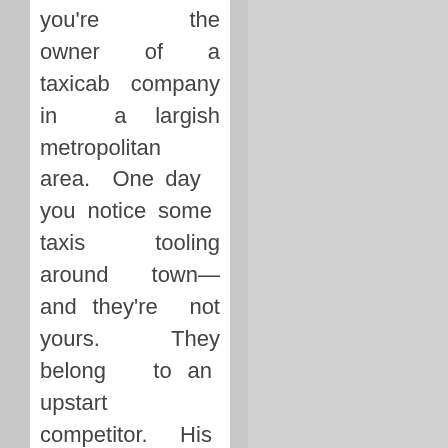you're the owner of a taxicab company in a largish metropolitan area. One day you notice some taxis tooling around town—and they're not yours. They belong to an upstart competitor. His cars are now...